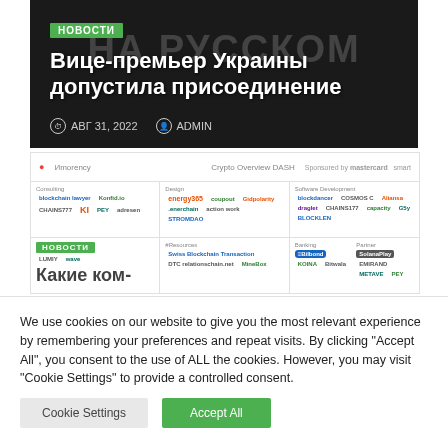[Figure (screenshot): RT на русском news website screenshot showing article header with title 'Вице-премьер Украины допустила присоединение', date АВГ 31, 2022, author ADMIN, with НОВОСТИ badge on dark background]
[Figure (screenshot): Crypto Overview Dashboard screenshot showing a grid of cryptocurrency company logos organized by category (Consulting, Design, Software Development, etc.) including Konfid.io, KI, COSMOS, Bilbond, KOINA, MineBox and others]
We use cookies on our website to give you the most relevant experience by remembering your preferences and repeat visits. By clicking "Accept All", you consent to the use of ALL the cookies. However, you may visit "Cookie Settings" to provide a controlled consent.
Cookie Settings
Accept All